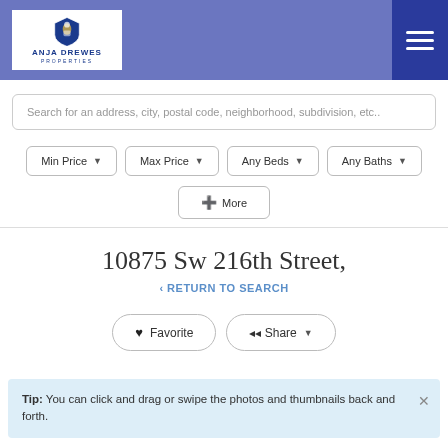[Figure (logo): Anja Drewes Properties logo with shield icon and company name]
Search for an address, city, postal code, neighborhood, subdivision, etc..
Min Price ▼
Max Price ▼
Any Beds ▼
Any Baths ▼
+ More
10875 Sw 216th Street,
‹ RETURN TO SEARCH
♥ Favorite
Share ▼
Tip: You can click and drag or swipe the photos and thumbnails back and forth.